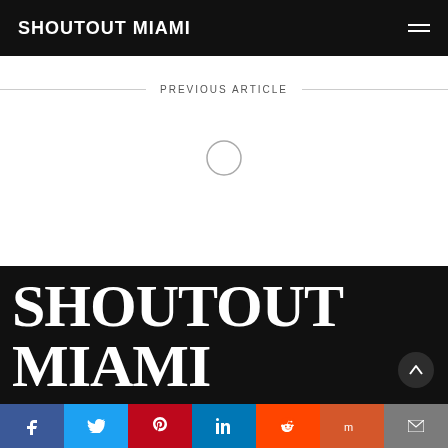SHOUTOUT MIAMI
PREVIOUS ARTICLE
[Figure (other): Circle navigation icon for previous article]
SHOUTOUT MIAMI
Our mission is to help change the way people spend money. We want people to spend more of their money with mom-and-pops, small businesses, independent artists and creatives. We think one of the most powerful ways to do that is by putting small business owners and creatives at the center of discussions designed to share conversations within the community.
f  Twitter  Pinterest  in  Reddit  Mix  Email